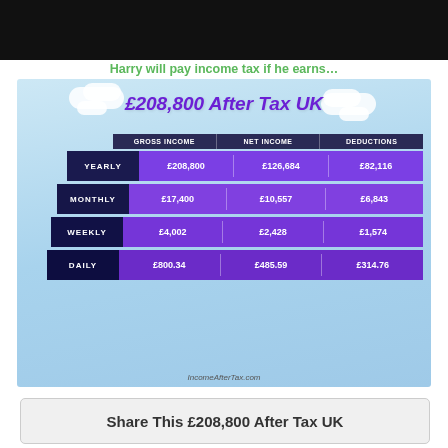[Figure (infographic): UK income tax breakdown infographic for £208,800 showing yearly, monthly, weekly, and daily gross income, net income, and deductions in a pyramid/staircase style table.]
Harry will pay income tax if he earns…
|  | GROSS INCOME | NET INCOME | DEDUCTIONS |
| --- | --- | --- | --- |
| YEARLY | £208,800 | £126,684 | £82,116 |
| MONTHLY | £17,400 | £10,557 | £6,843 |
| WEEKLY | £4,002 | £2,428 | £1,574 |
| DAILY | £800.34 | £485.59 | £314.76 |
IncomeAfterTax.com
Share This £208,800 After Tax UK